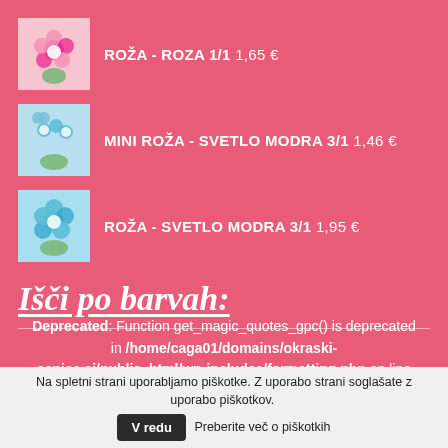ROŽA - ROZA 1/1 1,65 €
MINI ROŽA - SVETLO MODRA 3/1 1,46 €
ROŽA - SVETLO MODRA 3/1 1,95 €
Išči po barvah:
Deprecated: Function get_magic_quotes_gpc() is deprecated in /home/caga01/domains/okraski-senica.si/public_html/wp-includes/formatting.php on line 4387
Na spletni strani uporabljamo piškotke. Z uporabo strani soglašate z uporabo piškotkov. V redu Preberite več o piškotkih